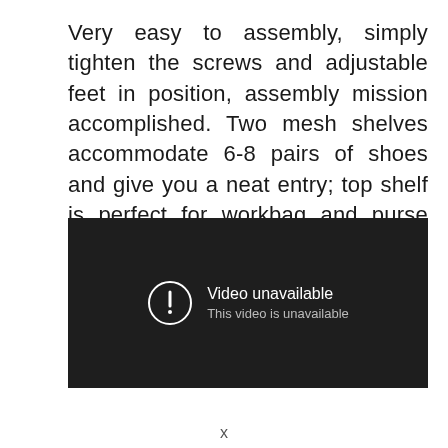Very easy to assembly, simply tighten the screws and adjustable feet in position, assembly mission accomplished. Two mesh shelves accommodate 6-8 pairs of shoes and give you a neat entry; top shelf is perfect for workbag and purse drop off at the end of the day.
[Figure (screenshot): Embedded video player showing 'Video unavailable - This video is unavailable' error message on a dark background.]
x